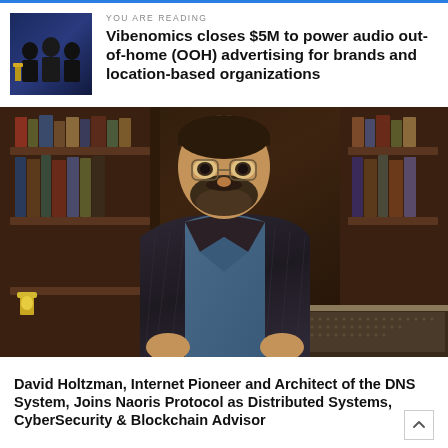YOU ARE READING
Vibenomics closes $5M to power audio out-of-home (OOH) advertising for brands and location-based organizations
[Figure (photo): Portrait photo of David Holtzman, a bearded man in a plaid blazer and blue shirt, standing in a dark wood-paneled library/office setting]
David Holtzman, Internet Pioneer and Architect of the DNS System, Joins Naoris Protocol as Distributed Systems, CyberSecurity & Blockchain Advisor